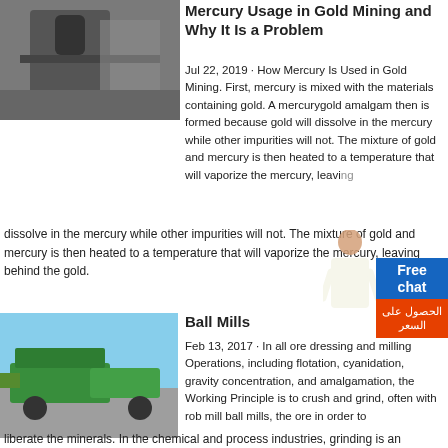[Figure (photo): Industrial mining crusher machine inside a facility]
Mercury Usage in Gold Mining and Why It Is a Problem
Jul 22, 2019 · How Mercury Is Used in Gold Mining. First, mercury is mixed with the materials containing gold. A mercurygold amalgam then is formed because gold will dissolve in the mercury while other impurities will not. The mixture of gold and mercury is then heated to a temperature that will vaporize the mercury, leaving behind the gold.
[Figure (photo): Green mobile mining/crushing equipment in open pit mine]
Ball Mills
Feb 13, 2017 · In all ore dressing and milling Operations, including flotation, cyanidation, gravity concentration, and amalgamation, the Working Principle is to crush and grind, often with rob mill ball mills, the ore in order to liberate the minerals. In the chemical and process industries, grinding is an important step in preparing raw materials for subsequent treatment.
[Figure (photo): Industrial ball mill equipment inside a facility]
Ball Mills
Ball Mills are generally used to grind material